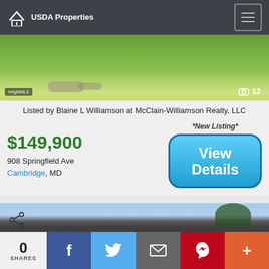USDA Properties
[Figure (photo): Aerial or ground-level photo of a green lawn property with grass and rocks]
Listed by Blaine L Williamson at McClain-Williamson Realty, LLC
$149,900
908 Springfield Ave
Cambridge, MD
*New Listing*
View Details
[Figure (photo): Partial view of a house rooftop with dark shingles against a blue sky with trees]
0 SHARES
f
Twitter
Email
Pinterest
+